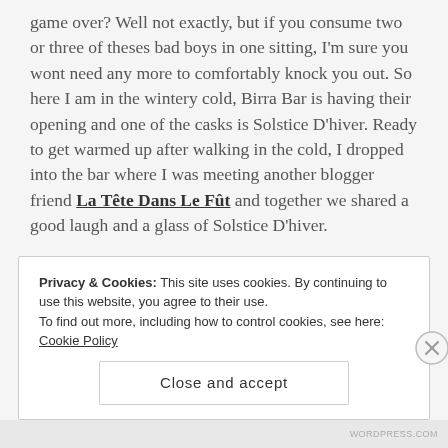game over? Well not exactly, but if you consume two or three of theses bad boys in one sitting, I'm sure you wont need any more to comfortably knock you out. So here I am in the wintery cold, Birra Bar is having their opening and one of the casks is Solstice D'hiver. Ready to get warmed up after walking in the cold, I dropped into the bar where I was meeting another blogger friend La Tête Dans Le Fût and together we shared a good laugh and a glass of Solstice D'hiver.
Privacy & Cookies: This site uses cookies. By continuing to use this website, you agree to their use. To find out more, including how to control cookies, see here: Cookie Policy
Close and accept
WORDPRESS.COM